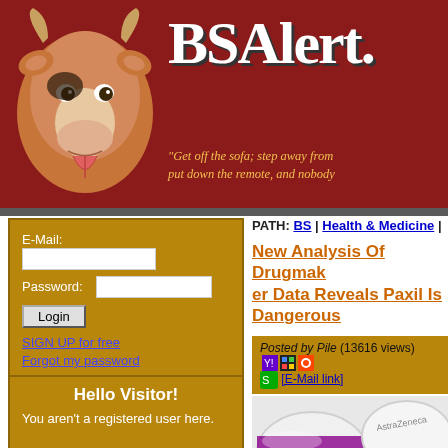[Figure (illustration): Cartoon cow head with tongue out on dark red background]
BSAlert.
"Get off the sofa; step away from the TV, put down the remote, and nobody gets hurt"
E-Mail: [input] Password: [input] Login SIGN UP for free Forgot my password
Hello Visitor!
You aren't a registered user here.

Won't you consider registering with our site? You can unlock more features of the site, leave comments and even
PATH: BS | Health & Medicine |
New Analysis Of Drugmaker Data Reveals Paxil Is Dangerous
Posted by Pile (13616 views) [E-Mail link]
[Figure (photo): Close-up photo of pills/medicine]